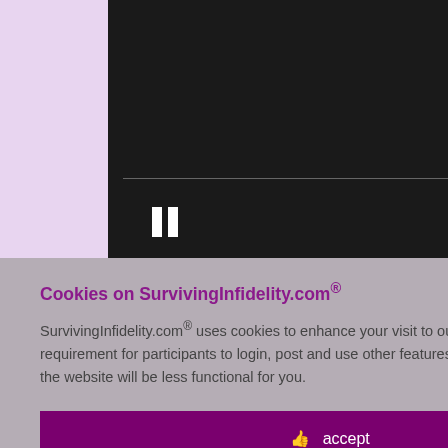Cookies on SurvivingInfidelity.com®
SurvivingInfidelity.com® uses cookies to enhance your visit to our website. This is a requirement for participants to login, post and use other features. Visitors may opt out, but the website will be less functional for you.
accept
decline
about cookies
Policy